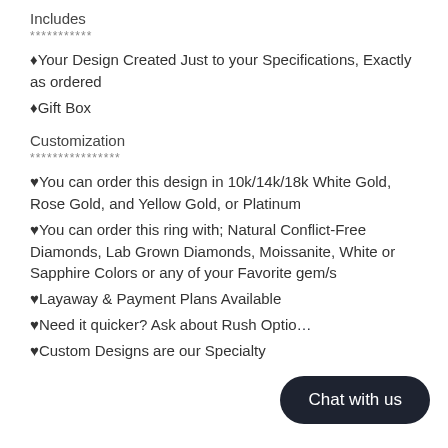Includes
***********
♦Your Design Created Just to your Specifications, Exactly as ordered
♦Gift Box
Customization
****************
♥You can order this design in 10k/14k/18k White Gold, Rose Gold, and Yellow Gold, or Platinum
♥You can order this ring with; Natural Conflict-Free Diamonds, Lab Grown Diamonds, Moissanite, White or Sapphire Colors or any of your Favorite gem/s
♥Layaway & Payment Plans Available
♥Need it quicker? Ask about Rush Optio…
♥Custom Designs are our Specialty